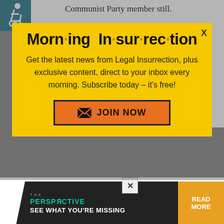Communist Party member still.
One of my professional colleagues who loved to travel to Europe (mainly Germany and Austria) told
[Figure (screenshot): Morning Insurrection newsletter popup with yellow background, bold title with orange dots, subscription text, and JOIN NOW button]
Hitler wasn't that bad, etc.
[Figure (infographic): THE PERSPECTIVE advertisement banner: PERSP-RCTIVE / EVITCE - SEE WHAT YOU'RE MISSING with READ MORE button]